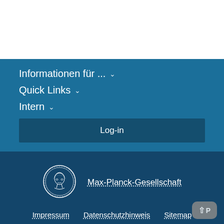Informationen für ... ∨
Quick Links ∨
Intern ∨
Log-in
[Figure (logo): Max-Planck-Gesellschaft circular logo with classical portrait]
Max-Planck-Gesellschaft
Impressum   Datenschutzhinweis   Sitemap
© 2022, Max-Planck-Gesellschaft